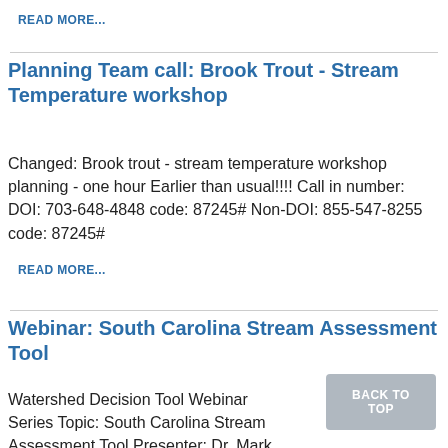READ MORE...
Planning Team call: Brook Trout - Stream Temperature workshop
Changed: Brook trout - stream temperature workshop planning - one hour Earlier than usual!!!! Call in number: DOI: 703-648-4848 code: 87245# Non-DOI: 855-547-8255 code: 87245#
READ MORE...
Webinar: South Carolina Stream Assessment Tool
Watershed Decision Tool Webinar Series Topic: South Carolina Stream Assessment Tool Presenter: Dr. Mark Scott, South